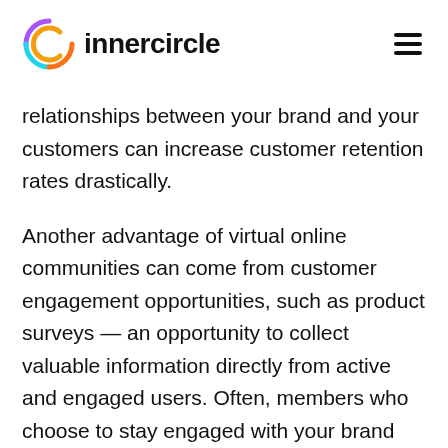[Figure (logo): Innercircle logo with colorful circular arc icon and bold text 'innercircle']
relationships between your brand and your customers can increase customer retention rates drastically.
Another advantage of virtual online communities can come from customer engagement opportunities, such as product surveys — an opportunity to collect valuable information directly from active and engaged users. Often, members who choose to stay engaged with your brand via your online community will be the customers you